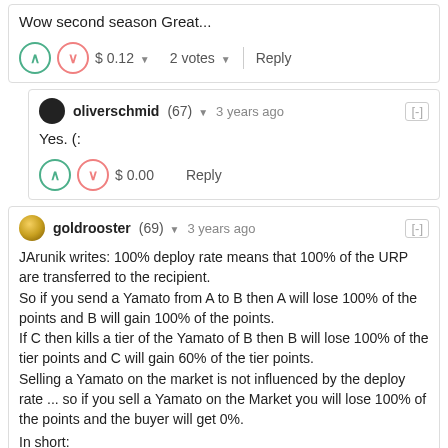Wow second season Great...
$ 0.12  2 votes  Reply
oliverschmid (67)  3 years ago  [-]
Yes. (:
$ 0.00  Reply
goldrooster (69)  3 years ago  [-]
JArunik writes: 100% deploy rate means that 100% of the URP are transferred to the recipient.
So if you send a Yamato from A to B then A will lose 100% of the points and B will gain 100% of the points.
If C then kills a tier of the Yamato of B then B will lose 100% of the tier points and C will gain 60% of the tier points.
Selling a Yamato on the market is not influenced by the deploy rate ... so if you sell a Yamato on the Market you will lose 100% of the points and the buyer will get 0%.
In short:
You always lose 100% of the points when you "lose" a Yamato or tier
Deploy Rate says how much points a recipient of a deploy mission will